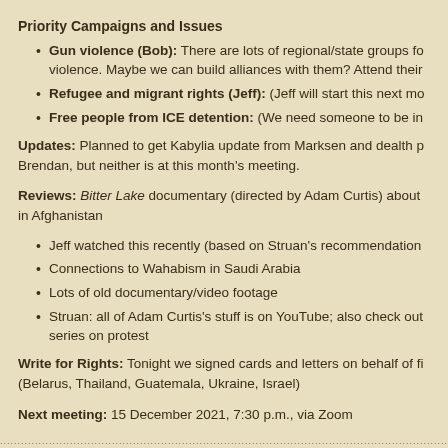Priority Campaigns and Issues
Gun violence (Bob): There are lots of regional/state groups fo… violence. Maybe we can build alliances with them? Attend their…
Refugee and migrant rights (Jeff): (Jeff will start this next mo…
Free people from ICE detention: (We need someone to be in…
Updates: Planned to get Kabylia update from Marksen and dealth p… Brendan, but neither is at this month's meeting.
Reviews: Bitter Lake documentary (directed by Adam Curtis) about … in Afghanistan
Jeff watched this recently (based on Struan's recommendation…
Connections to Wahabism in Saudi Arabia
Lots of old documentary/video footage
Struan: all of Adam Curtis's stuff is on YouTube; also check out… series on protest
Write for Rights: Tonight we signed cards and letters on behalf of fi… (Belarus, Thailand, Guatemala, Ukraine, Israel)
Next meeting: 15 December 2021, 7:30 p.m., via Zoom